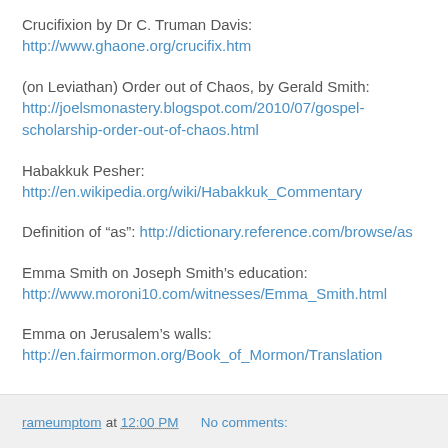Crucifixion by Dr C. Truman Davis:
http://www.ghaone.org/crucifix.htm
(on Leviathan) Order out of Chaos, by Gerald Smith:
http://joelsmonastery.blogspot.com/2010/07/gospel-scholarship-order-out-of-chaos.html
Habakkuk Pesher:
http://en.wikipedia.org/wiki/Habakkuk_Commentary
Definition of “as”: http://dictionary.reference.com/browse/as
Emma Smith on Joseph Smith’s education:
http://www.moroni10.com/witnesses/Emma_Smith.html
Emma on Jerusalem’s walls:
http://en.fairmormon.org/Book_of_Mormon/Translation
rameumptom at 12:00 PM   No comments: